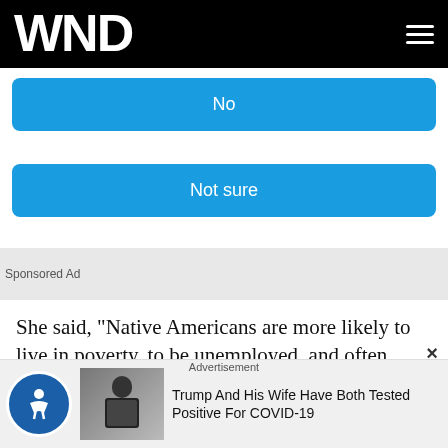WND
No
Not sure
Sponsored Ad
She said, "Native Americans are more likely to live in poverty, to be unemployed, and often struggle to get quality healthcare and to find affordable housing."
She said Biden's plan to spend $3.5 trillion on mostly
Advertisement
Trump And His Wife Have Both Tested Positive For COVID-19